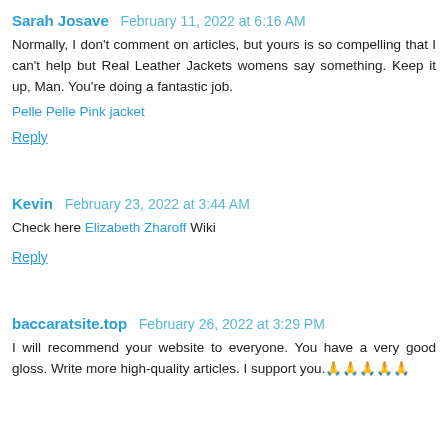Sarah Josave  February 11, 2022 at 6:16 AM
Normally, I don't comment on articles, but yours is so compelling that I can't help but Real Leather Jackets womens say something. Keep it up, Man. You're doing a fantastic job.
Pelle Pelle Pink jacket
Reply
Kevin  February 23, 2022 at 3:44 AM
Check here Elizabeth Zharoff Wiki
Reply
baccaratsite.top  February 26, 2022 at 3:29 PM
I will recommend your website to everyone. You have a very good gloss. Write more high-quality articles. I support you.🙏🙏🙏🙏🙏